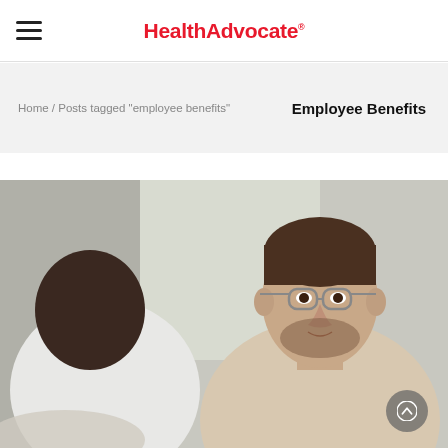HealthAdvocate
Home / Posts tagged "employee benefits"
Employee Benefits
[Figure (photo): Two men in conversation: one seen from behind wearing a white shirt, the other facing forward wearing glasses and a beige sweater, appearing to be in a professional consultation setting.]